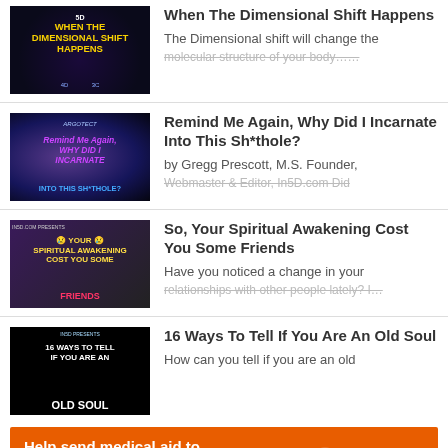[Figure (photo): Thumbnail for 'When The Dimensional Shift Happens' article — dark cosmic background with yellow text]
When The Dimensional Shift Happens
The Dimensional shift will change the molecular structure of your body…
[Figure (photo): Thumbnail for 'Remind Me Again, Why Did I Incarnate Into This Sh*thole?' — person in tunnel with purple text]
Remind Me Again, Why Did I Incarnate Into This Sh*thole?
by Gregg Prescott, M.S. Founder, Webmaster & Editor, In5D.com Did…
[Figure (photo): Thumbnail for 'So, Your Spiritual Awakening Cost You Some Friends' — man with text overlay]
So, Your Spiritual Awakening Cost You Some Friends
Have you noticed a change in your relationships with other people lately? I…
[Figure (photo): Thumbnail for '16 Ways To Tell If You Are An Old Soul' — old man face on dark background]
16 Ways To Tell If You Are An Old Soul
How can you tell if you are an old…
Help send medical aid to Ukraine >>
[Figure (logo): Direct Relief logo — white bird icon with 'Direct Relief' text on orange background]